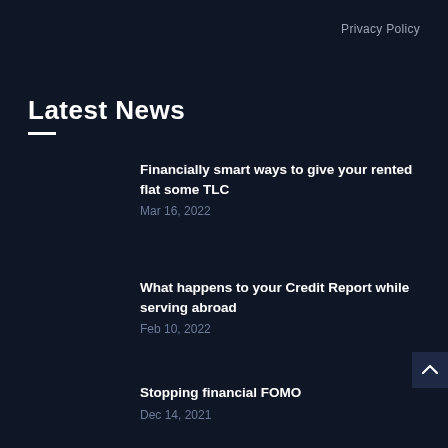Privacy Policy
Latest News
Financially smart ways to give your rented flat some TLC
Mar 16, 2022
What happens to your Credit Report while serving abroad
Feb 10, 2022
Stopping financial FOMO
Dec 14, 2021